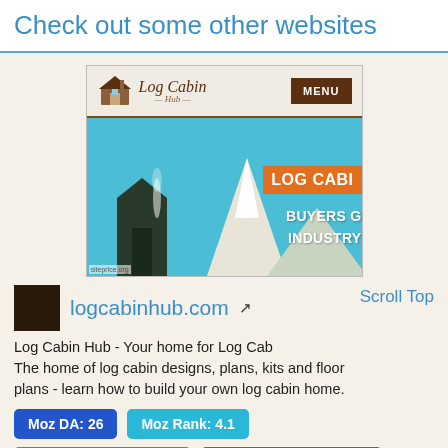Check out some other websites
[Figure (screenshot): Screenshot of logcabinhub.com website showing the Log Cabin Hub logo, MENU button, and hero banner with 'LOG CABI...' in orange and 'BUYERS G... INDUSTRY' in white on a teal background]
logcabinhub.com
Scroll Top
Log Cabin Hub - Your home for Log Cab... The home of log cabin designs, plans, kits and floor plans - learn how to build your own log cabin home.
Moz DA: 26
Moz Rank: 4.1
Semrush Rank: 72,070
Website Worth: $ 1,600